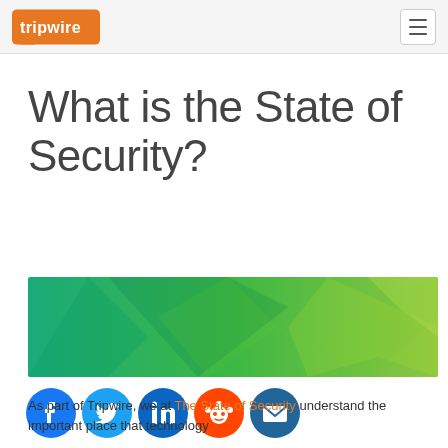Tripwire logo and navigation
What is the State of Security?
[Figure (illustration): Green geometric polygon gradient banner image, transitioning from teal/green on the left to lime green on the right]
[Figure (infographic): Row of five social media share icons: Facebook (blue circle), Twitter (light blue circle), LinkedIn (dark blue circle), Reddit (orange circle), Email (dark blue circle)]
As part of Tripwire, we at The State of Security understand the important place that technology